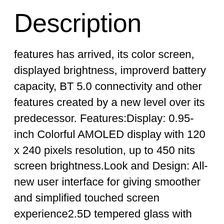Description
features has arrived, its color screen, displayed brightness, improverd battery capacity, BT 5.0 connectivity and other features created by a new level over its predecessor. Features:Display: 0.95-inch Colorful AMOLED display with 120 x 240 pixels resolution, up to 450 nits screen brightness.Look and Design: All-new user interface for giving smoother and simplified touched screen experience2.5D tempered glass with anti-fingerprint coating.Battery Life: 135mAh battery capacity built in the Mi Band 4, max working time up to 20 days after a full charging.Activity Tracking: Comes with 6 workout modes: Treadmill, exercise, outdoor running, cycling, walking,